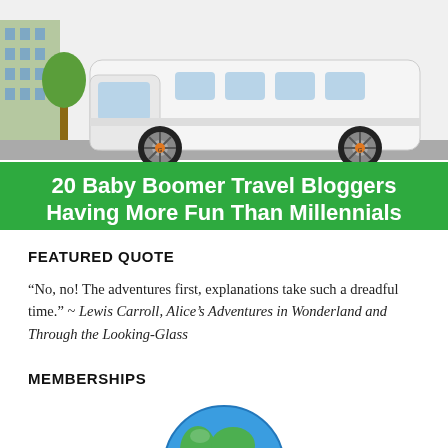[Figure (illustration): Illustrated banner showing a white RV/camper van with cartoon-style tires and hubcaps, a building and trees in the background, on a green banner strip with white bold text reading '20 Baby Boomer Travel Bloggers Having More Fun Than Millennials']
FEATURED QUOTE
“No, no! The adventures first, explanations take such a dreadful time.” ~ Lewis Carroll, Alice’s Adventures in Wonderland and Through the Looking-Glass
MEMBERSHIPS
[Figure (illustration): Partial globe/earth icon showing blue oceans and green landmasses, cropped at bottom of page]